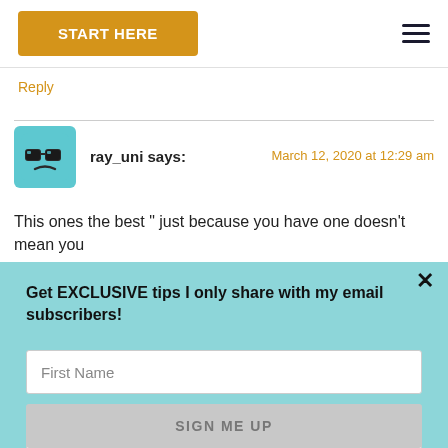START HERE
Reply
ray_uni says:
March 12, 2020 at 12:29 am
This ones the best " just because you have one doesn't mean you
[Figure (screenshot): Email subscription modal popup with light blue background. Contains heading 'Get EXCLUSIVE tips I only share with my email subscribers!', a 'First Name' input field, an 'Email' input field, and a 'SIGN ME UP' button. An X close button is in the top right corner.]